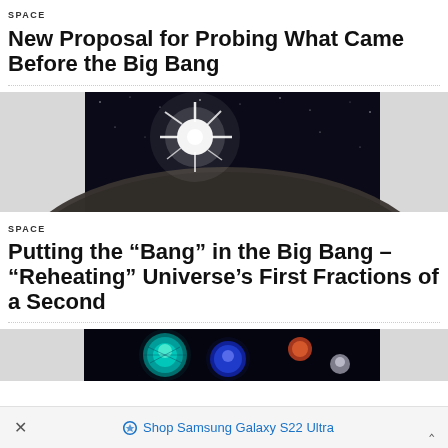SPACE
New Proposal for Probing What Came Before the Big Bang
[Figure (photo): Space illustration showing a bright star burst with light rays emanating from it against a dark starfield background with a rocky celestial body surface in view]
SPACE
Putting the “Bang” in the Big Bang – “Reheating” Universe’s First Fractions of a Second
[Figure (photo): Colorful digital illustration of glowing spherical particles or cells in teal, blue and orange colors against a dark background, representing quantum or cosmological concepts]
×    Shop Samsung Galaxy S22 Ultra    ˄